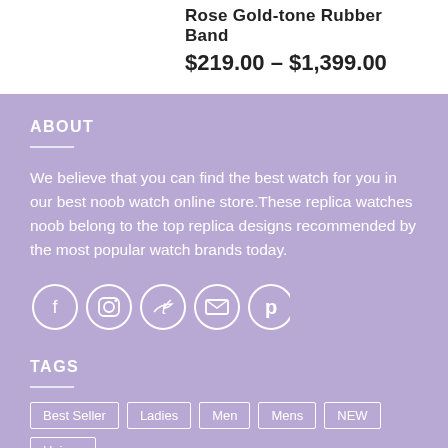Rose Gold-tone Rubber Band
$219.00 – $1,399.00
ABOUT
We believe that you can find the best watch for you in our best noob watch online store.These replica watches noob belong to the top replica designs recommended by the most popular watch brands today.
[Figure (infographic): Social media icons: Facebook, Instagram, Twitter, Email, Pinterest — white circle outlines on purple background]
TAGS
Best Seller
Ladies
Men
Mens
NEW
Unisex